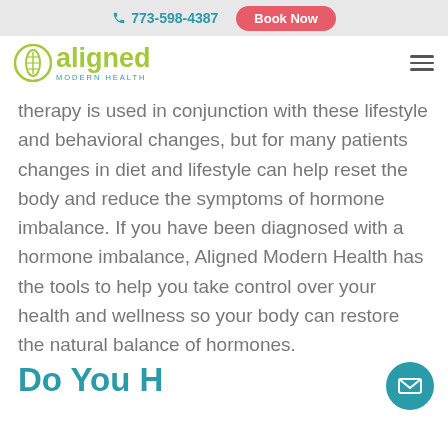☎ 773-598-4387   Book Now
[Figure (logo): Aligned Modern Health logo — green circle with spine icon, green 'aligned' wordmark, teal 'MODERN HEALTH' subtext]
therapy is used in conjunction with these lifestyle and behavioral changes, but for many patients changes in diet and lifestyle can help reset the body and reduce the symptoms of hormone imbalance. If you have been diagnosed with a hormone imbalance, Aligned Modern Health has the tools to help you take control over your health and wellness so your body can restore the natural balance of hormones.
Do You H…